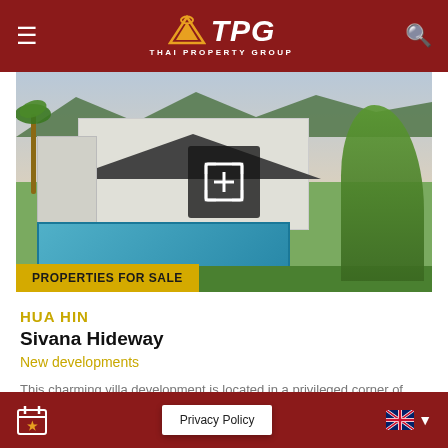TPG Thai Property Group
[Figure (photo): Exterior photo of a modern white villa with dark roof, swimming pool in foreground, palm trees and tropical garden, taken at dusk]
PROPERTIES FOR SALE
HUA HIN
Sivana Hideway
New developments
This charming villa development is located in a privileged corner of Hua Hin
Privacy Policy